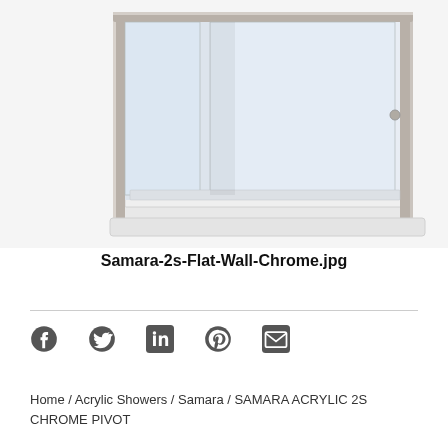[Figure (photo): Product photo of a Samara 2S Flat Wall Chrome acrylic shower enclosure with chrome/brushed nickel frame, clear glass panels, and white acrylic base/walls, viewed from an angle showing the open front.]
Samara-2s-Flat-Wall-Chrome.jpg
[Figure (other): Row of social sharing icons: Facebook, Twitter, LinkedIn, Pinterest, Email]
Home / Acrylic Showers / Samara / SAMARA ACRYLIC 2S CHROME PIVOT